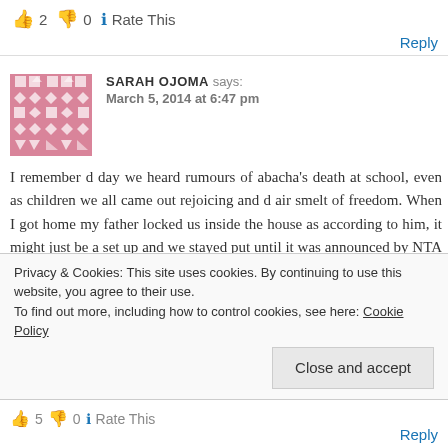👍 2 👎 0 ℹ Rate This
Reply
SARAH OJOMA says: March 5, 2014 at 6:47 pm
I remember d day we heard rumours of abacha's death at school, even as children we all came out rejoicing and d air smelt of freedom. When I got home my father locked us inside the house as according to him, it might just be a set up and we stayed put until it was announced by NTA at 9pm. Abacha was a terror and the dark memories of his evil
Privacy & Cookies: This site uses cookies. By continuing to use this website, you agree to their use. To find out more, including how to control cookies, see here: Cookie Policy
Close and accept
👍 5 👎 0 ℹ Rate This
Reply